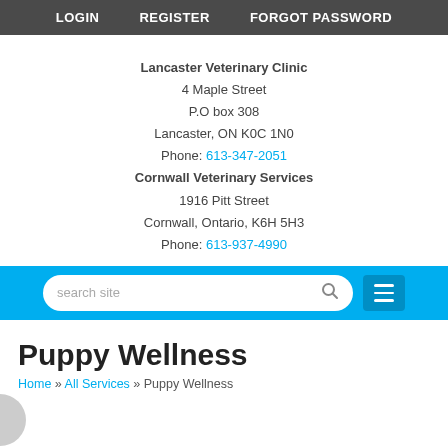LOGIN   REGISTER   FORGOT PASSWORD
Lancaster Veterinary Clinic
4 Maple Street
P.O box 308
Lancaster, ON K0C 1N0
Phone: 613-347-2051
Cornwall Veterinary Services
1916 Pitt Street
Cornwall, Ontario, K6H 5H3
Phone: 613-937-4990
Puppy Wellness
Home » All Services » Puppy Wellness